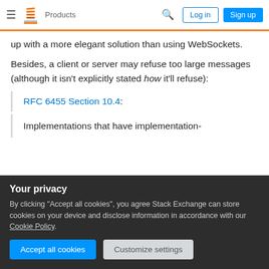≡ [Stack Overflow logo] Products 🔍 Log in Sign up
up with a more elegant solution than using WebSockets.
Besides, a client or server may refuse too large messages (although it isn't explicitly stated how it'll refuse):
RFC 6455 Section 10.4:
Implementations that have implementation-
Your privacy
By clicking "Accept all cookies", you agree Stack Exchange can store cookies on your device and disclose information in accordance with our Cookie Policy.
Accept all cookies   Customize settings
peer's memory or mount a denial-of-service